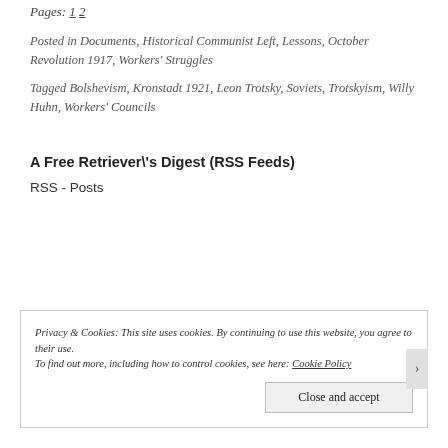Pages: 1 2
Posted in Documents, Historical Communist Left, Lessons, October Revolution 1917, Workers' Struggles
Tagged Bolshevism, Kronstadt 1921, Leon Trotsky, Soviets, Trotskyism, Willy Huhn, Workers' Councils
A Free Retriever\'s Digest (RSS Feeds)
RSS - Posts
Privacy & Cookies: This site uses cookies. By continuing to use this website, you agree to their use. To find out more, including how to control cookies, see here: Cookie Policy